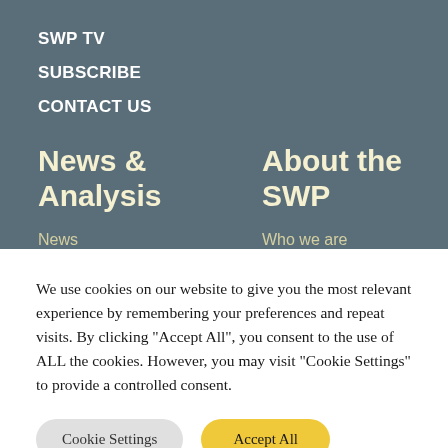SWP TV
SUBSCRIBE
CONTACT US
News & Analysis
About the SWP
News
Who we are
We use cookies on our website to give you the most relevant experience by remembering your preferences and repeat visits. By clicking "Accept All", you consent to the use of ALL the cookies. However, you may visit "Cookie Settings" to provide a controlled consent.
Cookie Settings
Accept All